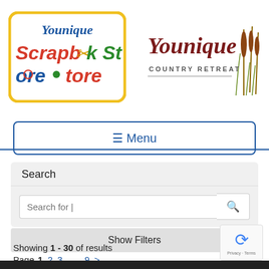[Figure (logo): Younique Scrapbook Store logo with colorful text and yellow border]
[Figure (logo): Younique Country Retreat logo with cursive text and cattail grass illustration]
☰ Menu
Search
Search for |
Show Filters
Showing 1 - 30 of results
Page  1  2  3  ...  9  >
[Figure (other): Google reCAPTCHA badge with blue spinner icon and Privacy · Terms text]